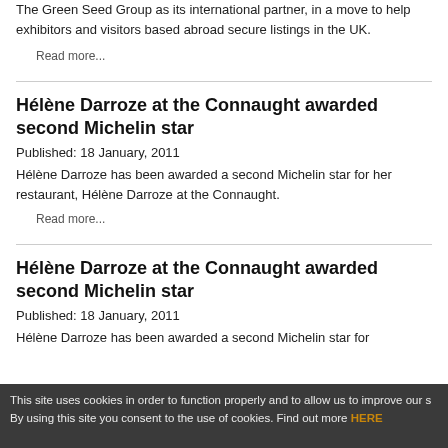The Green Seed Group as its international partner, in a move to help exhibitors and visitors based abroad secure listings in the UK.
Read more...
Hélène Darroze at the Connaught awarded second Michelin star
Published:  18 January, 2011
Hélène Darroze has been awarded a second Michelin star for her restaurant, Hélène Darroze at the Connaught.
Read more...
Hélène Darroze at the Connaught awarded second Michelin star
Published:  18 January, 2011
Hélène Darroze has been awarded a second Michelin star for
This site uses cookies in order to function properly and to allow us to improve our s By using this site you consent to the use of cookies. Find out more HERE